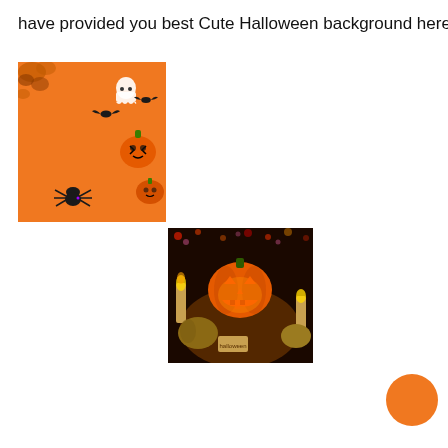have provided you best Cute Halloween background here
[Figure (photo): Orange Halloween background with cute ghost, bats, spider, and Halloween-themed decorations scattered on orange surface]
[Figure (photo): Dark Halloween scene with a glowing jack-o-lantern pumpkin, candles, and smaller pumpkins with a Halloween sign]
[Figure (illustration): Solid orange circle/button element]